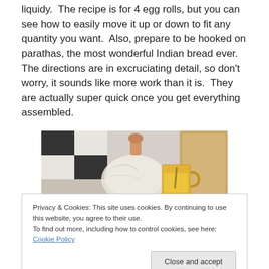liquidy.  The recipe is for 4 egg rolls, but you can see how to easily move it up or down to fit any quantity you want.  Also, prepare to be hooked on parathas, the most wonderful Indian bread ever.  The directions are in excruciating detail, so don't worry, it sounds like more work than it is.  They are actually super quick once you get everything assembled.
[Figure (photo): Photo showing ingredients laid out on a countertop: a bag of dough wrapped in plastic wrap and a glass measuring cup with yellow liquid (egg), on a black and white checkered countertop with a wooden cutting board visible.]
Privacy & Cookies: This site uses cookies. By continuing to use this website, you agree to their use.
To find out more, including how to control cookies, see here: Cookie Policy
Get all your ingredients laid out ahead of time —